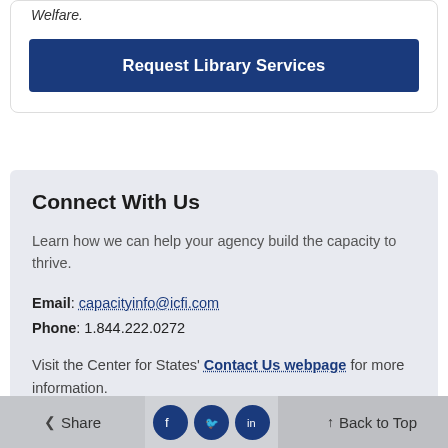Welfare.
Request Library Services
Connect With Us
Learn how we can help your agency build the capacity to thrive.
Email: capacityinfo@icfi.com
Phone: 1.844.222.0272
Visit the Center for States' Contact Us webpage for more information.
< Share   Back to Top